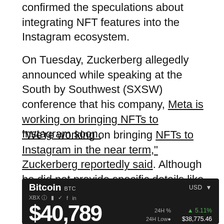confirmed the speculations about integrating NFT features into the Instagram ecosystem.
On Tuesday, Zuckerberg allegedly announced while speaking at the South by Southwest (SXSW) conference that his company, Meta is working on bringing NFTs to Instagram soon.
“We’re working on bringing NFTs to Instagram in the near term,” Zuckerberg reportedly said. Although he did not provide specific details like the launch date, the announcement shows that there might be work going on behind the scene.
[Figure (screenshot): Bitcoin BTC price widget showing $40,789 USD, 24H% +5.11% green, 24H Low $38,775.46, with social sharing icons (XBX, share, Twitter, Facebook, LinkedIn)]